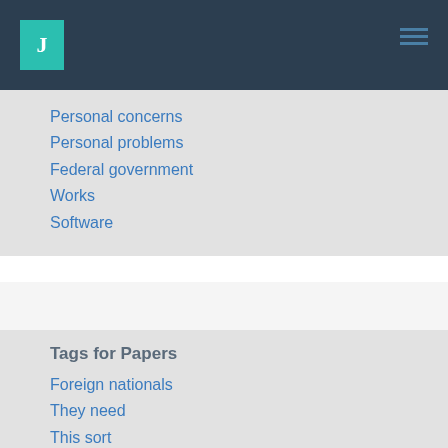J
Personal concerns
Personal problems
Federal government
Works
Software
Tags for Papers
Foreign nationals
They need
This sort
Learner
This point
Fruits vegetables
Evaluate
Male female
Type diabetes